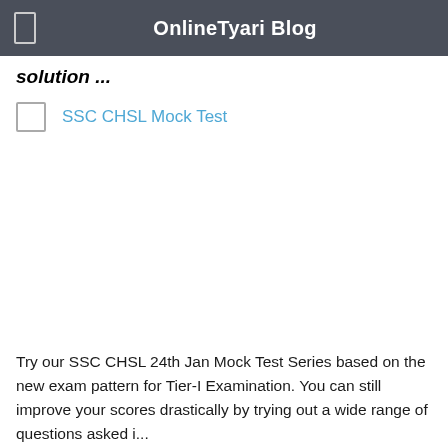OnlineTyari Blog
solution ...
SSC CHSL Mock Test
Try our SSC CHSL 24th Jan Mock Test Series based on the new exam pattern for Tier-I Examination. You can still improve your scores drastically by trying out a wide range of questions asked i...